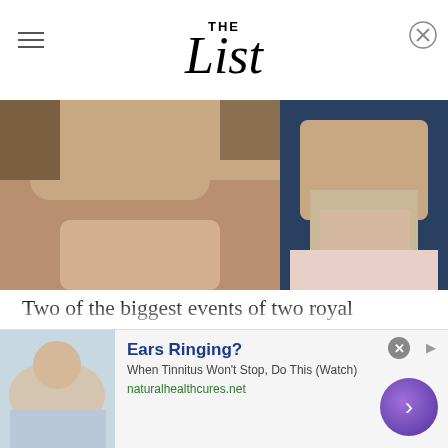THE List
[Figure (photo): Left: close-up photo of a person's neck/lower face. Right: video thumbnail of a man in a suit with a play button overlay, dark blue background.]
Two of the biggest events of two royal weddings. In 2011, Prince William wed Kate Middleton in a lavish, televised ceremony that captured the attention of the entire world. Then, in 2018, Prince Harry married American actress Meghan Markle, and their royal wedding was as fabulous as could be (via Harper's Bazaar). Still, there was a time when Prince Harry wasn't exactly on track to get
[Figure (screenshot): Advertisement banner: 'Ears Ringing? When Tinnitus Won't Stop, Do This (Watch)' from naturalhealthcures.net with a photo of a person lying down.]